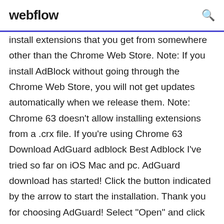webflow
install extensions that you get from somewhere other than the Chrome Web Store. Note: If you install AdBlock without going through the Chrome Web Store, you will not get updates automatically when we release them. Note: Chrome 63 doesn't allow installing extensions from a .crx file. If you're using Chrome 63 Download AdGuard adblock Best Adblock I've tried so far on iOS Mac and pc. AdGuard download has started! Click the button indicated by the arrow to start the installation. Thank you for choosing AdGuard! Select "Open" and click "OK", then wait for the file to be downloaded. In the opened window, drag the AdGuard icon to the "Applications" folder.